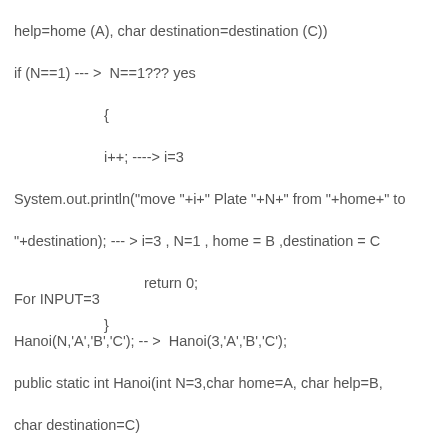help=home (A), char destination=destination (C))
if (N==1) --- >  N==1??? yes
    {
    i++; ----> i=3
System.out.println("move "+i+" Plate "+N+" from "+home+" to "+destination); --- > i=3 , N=1 , home = B ,destination = C
        return 0;
    }
For INPUT=3
Hanoi(N,'A','B','C'); -- >  Hanoi(3,'A','B','C');
public static int Hanoi(int N=3,char home=A, char help=B, char destination=C)
        if (N==1)  ---- >  N==1??? No
        Hanoi(N-1, home, destination, help); ---- > call the function
public static int Hanoi(int N=2,char home=home (A), char